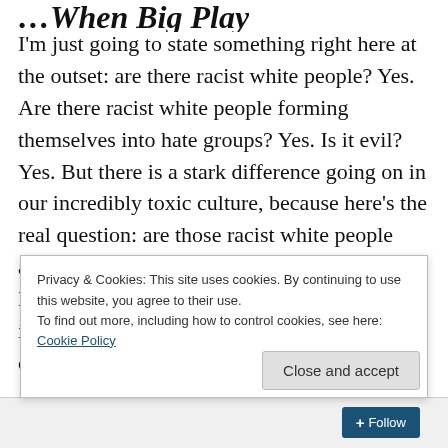…title cropped at top (partially visible, italic bold)
I'm just going to state something right here at the outset: are there racist white people? Yes. Are there racist white people forming themselves into hate groups? Yes. Is it evil? Yes. But there is a stark difference going on in our incredibly toxic culture, because here's the real question: are those racist white people and their racist hate groups demonized by EVERYBODY??? Yes. Contrast that to the incredible hypocritical racism we now see coming out of vile hate groups from blacks and from Hispanics. And then think about the whitewash these racist minority
Privacy & Cookies: This site uses cookies. By continuing to use this website, you agree to their use.
To find out more, including how to control cookies, see here: Cookie Policy
Close and accept